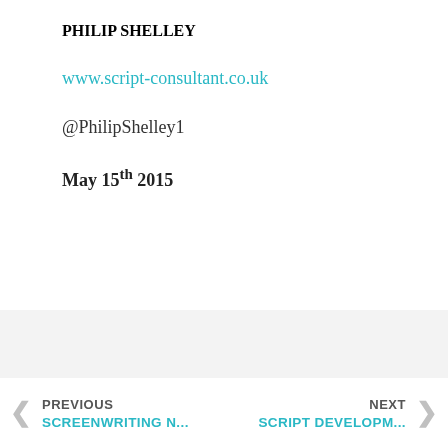PHILIP SHELLEY
www.script-consultant.co.uk
@PhilipShelley1
May 15th 2015
PREVIOUS SCREENWRITING N... | NEXT SCRIPT DEVELOPM...